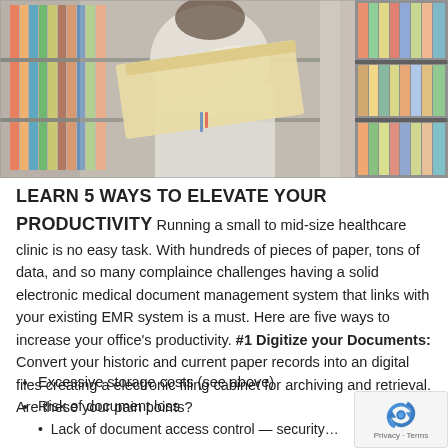[Figure (photo): Healthcare worker in white uniform pulling a folder/chart from shelves filled with colorful medical files and folders in a clinical records room.]
LEARN 5 WAYS TO ELEVATE YOUR PRODUCTIVITY Running a small to mid-size healthcare clinic is no easy task. With hundreds of pieces of paper, tons of data, and so many complaince challenges having a solid electronic medical document management system that links with your existing EMR system is a must. Here are five ways to increase your office's productivity. #1 Digitize your Documents: Convert your historic and current paper records into an digital files creating a electronic filing cabinet for archiving and retrieval. Are these your pain points?
Excessive storage costs (see above)
Risk of document loss
Lack of document access control — security issues!